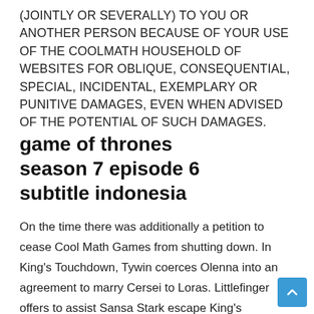(JOINTLY OR SEVERALLY) TO YOU OR ANOTHER PERSON BECAUSE OF YOUR USE OF THE COOLMATH HOUSEHOLD OF WEBSITES FOR OBLIQUE, CONSEQUENTIAL, SPECIAL, INCIDENTAL, EXEMPLARY OR PUNITIVE DAMAGES, EVEN WHEN ADVISED OF THE POTENTIAL OF SUCH DAMAGES.
game of thrones season 7 episode 6 subtitle indonesia
On the time there was additionally a petition to cease Cool Math Games from shutting down. In King's Touchdown, Tywin coerces Olenna into an agreement to marry Cersei to Loras. Littlefinger offers to assist Sansa Stark escape King's Touchdown. To be accepted and draw themselves out from the deepnesss of the male created recession, t need to derive the regard of males by serving them and